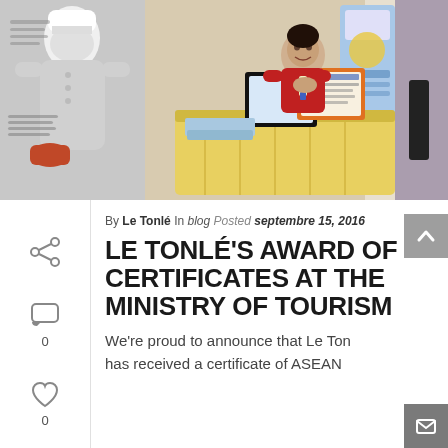[Figure (photo): Photo of a person in a red shirt standing behind a display table at a Ministry of Tourism event, with framed certificates on the table and a chef-themed banner on the left side.]
By Le Tonlé In blog Posted septembre 15, 2016
LE TONLÉ'S AWARD OF CERTIFICATES AT THE MINISTRY OF TOURISM
We're proud to announce that Le Tonlé has received a certificate of ASEAN